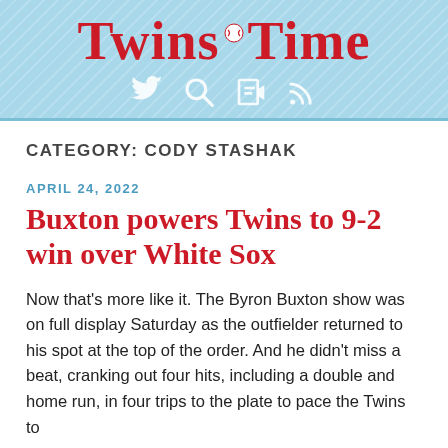Twins Time
CATEGORY: CODY STASHAK
APRIL 24, 2022
Buxton powers Twins to 9-2 win over White Sox
Now that's more like it. The Byron Buxton show was on full display Saturday as the outfielder returned to his spot at the top of the order. And he didn't miss a beat, cranking out four hits, including a double and home run, in four trips to the plate to pace the Twins to